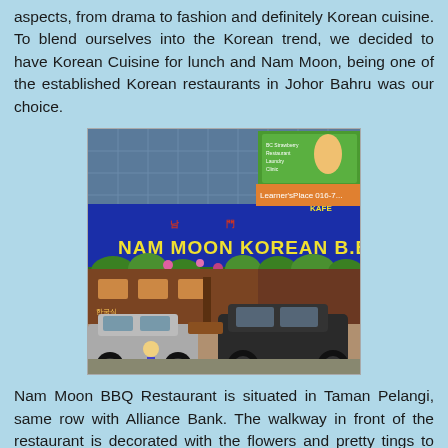aspects, from drama to fashion and definitely Korean cuisine. To blend ourselves into the Korean trend, we decided to have Korean Cuisine for lunch and Nam Moon, being one of the established Korean restaurants in Johor Bahru was our choice.
[Figure (photo): Exterior photo of Nam Moon Korean B.B.Q restaurant showing a blue sign with the restaurant name, plants/vines decorating the front, and cars parked in front.]
Nam Moon BBQ Restaurant is situated in Taman Pelangi, same row with Alliance Bank. The walkway in front of the restaurant is decorated with the flowers and pretty tings to attract the...